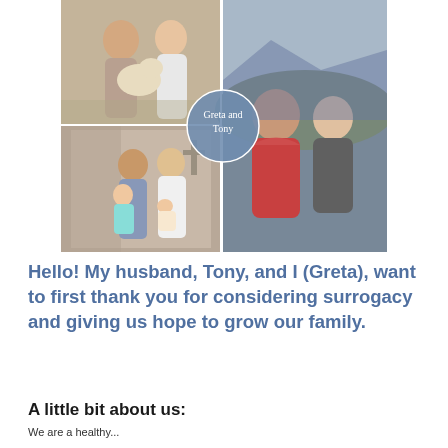[Figure (photo): Photo collage of Greta and Tony: top-left shows couple with a white/cream dog, bottom-left shows couple with two young children in a church setting, right panel shows couple outdoors wearing jackets. A circular label overlay reads 'Greta and Tony'.]
Hello! My husband, Tony, and I (Greta), want to first thank you for considering surrogacy and giving us hope to grow our family.
A little bit about us:
We are a healthy...